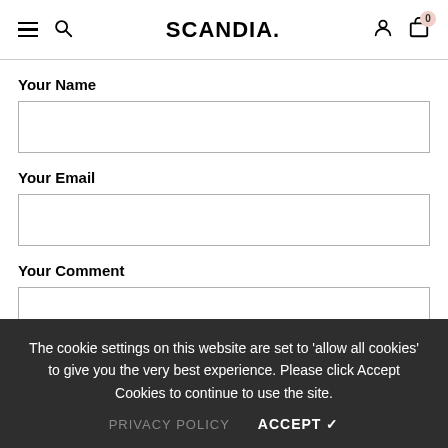SCANDIA.
Your Name
Your Email
Your Comment
The cookie settings on this website are set to 'allow all cookies' to give you the very best experience. Please click Accept Cookies to continue to use the site.
PRIVACY POLICY   ACCEPT ✓